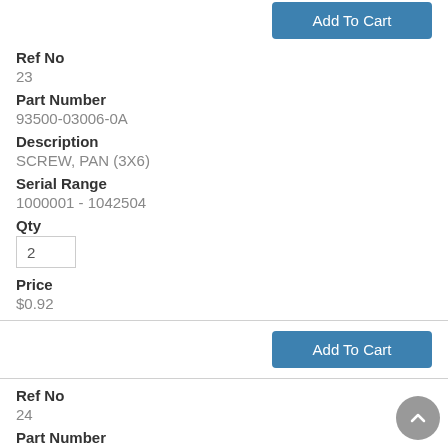[Figure (other): Add To Cart blue button at top right]
Ref No
23
Part Number
93500-03006-0A
Description
SCREW, PAN (3X6)
Serial Range
1000001 - 1042504
Qty
2
Price
$0.92
[Figure (other): Add To Cart blue button bottom right]
Ref No
24
Part Number
93500-04006-0A